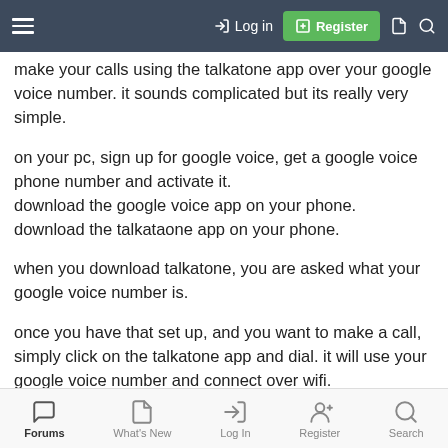Login | Register
make your calls using the talkatone app over your google voice number. it sounds complicated but its really very simple.
on your pc, sign up for google voice, get a google voice phone number and activate it.
download the google voice app on your phone.
download the talkataone app on your phone.
when you download talkatone, you are asked what your google voice number is.
once you have that set up, and you want to make a call, simply click on the talkatone app and dial. it will use your google voice number and connect over wifi.
Forums | What's New | Log In | Register | Search